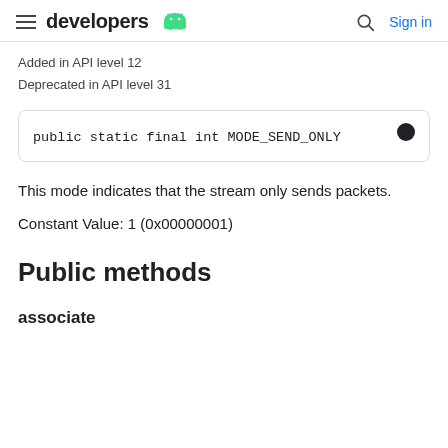developers | Sign in
Added in API level 12
Deprecated in API level 31
public static final int MODE_SEND_ONLY
This mode indicates that the stream only sends packets.
Constant Value: 1 (0x00000001)
Public methods
associate